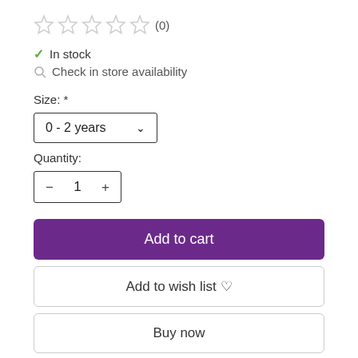[Figure (other): Five empty star rating icons followed by (0) review count]
✓ In stock
🔍 Check in store availability
Size: *
[Figure (other): Dropdown selector showing '0-2 years' with chevron arrow]
Quantity:
[Figure (other): Quantity stepper with minus, 1, plus controls]
Add to cart
Add to wish list ♡
Buy now
⇄ Add to compare